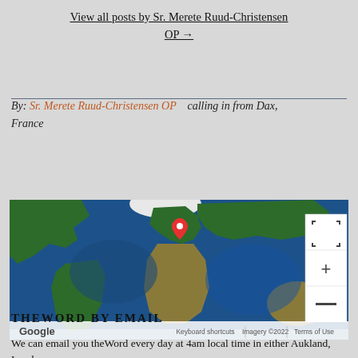View all posts by Sr. Merete Ruud-Christensen OP →
By: Sr. Merete Ruud-Christensen OP    calling in from Dax, France
[Figure (map): Google Maps satellite view of the world with a red location pin marker placed over France/Western Europe. Map controls visible on right side (fullscreen, zoom in, zoom out). Bottom shows Google branding and 'Keyboard shortcuts | Imagery ©2022 | Terms of Use'.]
THEWORD BY EMAIL
We can email you theWord every day at 4am local time in either Aukland, London, or